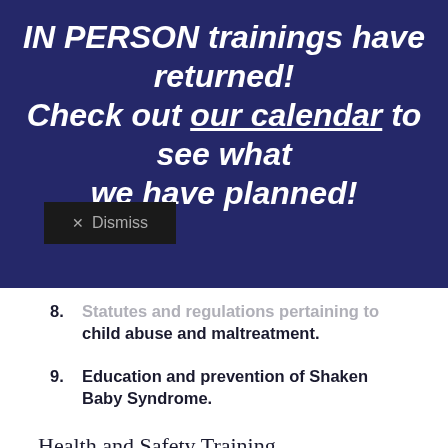IN PERSON trainings have returned! Check out our calendar to see what we have planned!
× Dismiss
8. Statutes and regulations pertaining to child abuse and maltreatment.
9. Education and prevention of Shaken Baby Syndrome.
Health and Safety Training